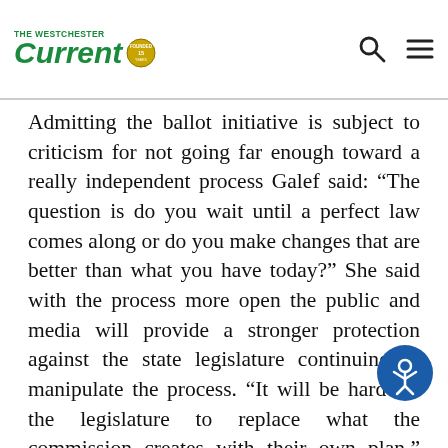The Westchester Current
Admitting the ballot initiative is subject to criticism for not going far enough toward a really independent process Galef said: “The question is do you wait until a perfect law comes along or do you make changes that are better than what you have today?” She said with the process more open the public and media will provide a stronger protection against the state legislature continuing to manipulate the process. “It will be hard for the legislature to replace what the commission creates with their own plan,” Galef said.
Although it was passed overwhelmingly … pressure from Governor Andrew Cuomo who resisted